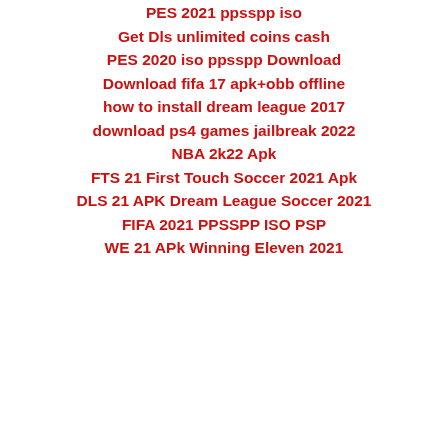PES 2021 ppsspp iso
Get Dls unlimited coins cash
PES 2020 iso ppsspp Download
Download fifa 17 apk+obb offline
how to install dream league 2017
download ps4 games jailbreak 2022
NBA 2k22 Apk
FTS 21 First Touch Soccer 2021 Apk
DLS 21 APK Dream League Soccer 2021
FIFA 2021 PPSSPP ISO PSP
WE 21 APk Winning Eleven 2021